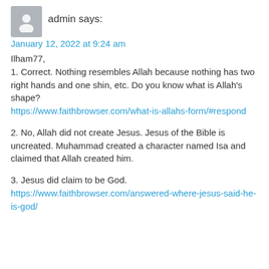admin says:
January 12, 2022 at 9:24 am
Ilham77,
1. Correct. Nothing resembles Allah because nothing has two right hands and one shin, etc. Do you know what is Allah’s shape?
https://www.faithbrowser.com/what-is-allahs-form/#respond
2. No, Allah did not create Jesus. Jesus of the Bible is uncreated. Muhammad created a character named Isa and claimed that Allah created him.
3. Jesus did claim to be God.
https://www.faithbrowser.com/answered-where-jesus-said-he-is-god/